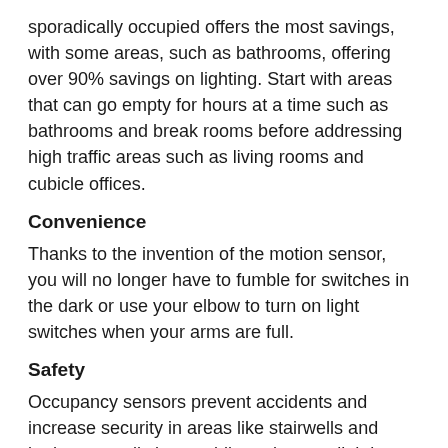sporadically occupied offers the most savings, with some areas, such as bathrooms, offering over 90% savings on lighting. Start with areas that can go empty for hours at a time such as bathrooms and break rooms before addressing high traffic areas such as living rooms and cubicle offices.
Convenience
Thanks to the invention of the motion sensor, you will no longer have to fumble for switches in the dark or use your elbow to turn on light switches when your arms are full.
Safety
Occupancy sensors prevent accidents and increase security in areas like stairwells and bathroom stalls by providing adequate lighting.
Sanity
If you earned a dime for every time you posted a note